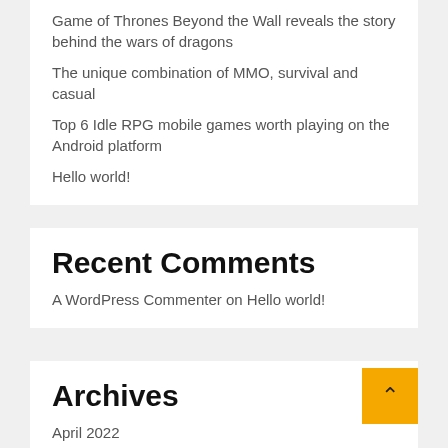Game of Thrones Beyond the Wall reveals the story behind the wars of dragons
The unique combination of MMO, survival and casual
Top 6 Idle RPG mobile games worth playing on the Android platform
Hello world!
Recent Comments
A WordPress Commenter on Hello world!
Archives
April 2022